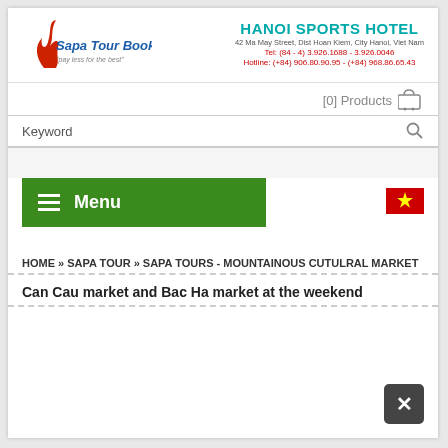[Figure (logo): Sapa Tour Booker logo with red flame and text 'pay less for the best']
HANOI SPORTS HOTEL
42 Ma May Street, Dist Hoan Kiem, City Hanoi, Viet Nam
Tel: (84 - 4) 3.926.1688 - 3.926.0046
Hotline: (+84) 906.80.90.95 - (+84) 968.86.65.43
[0] Products
Keyword
Menu
[Figure (illustration): Vietnamese flag - red background with yellow star]
HOME » SAPA TOUR » SAPA TOURS - MOUNTAINOUS CUTULRAL MARKET
Can Cau market and Bac Ha market at the weekend